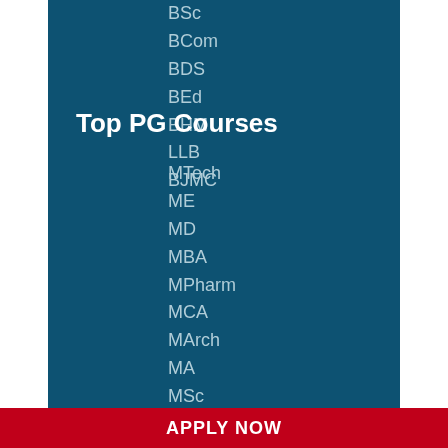BSc
BCom
BDS
BEd
BHM
LLB
BJMC
Top PG Courses
MTech
ME
MD
MBA
MPharm
MCA
MArch
MA
MSc
MCom
MDS
MEd
MHM
LLM
MJMC
APPLY NOW